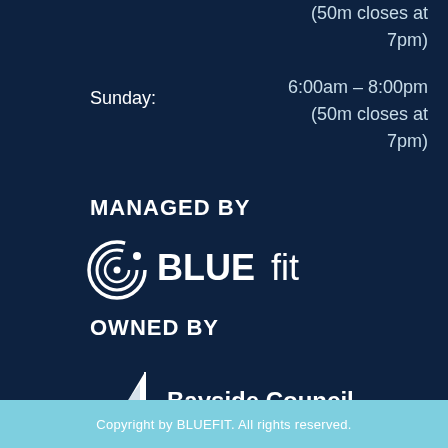Sunday:
6:00am – 8:00pm
(50m closes at
7pm)
(50m closes at
7pm)
MANAGED BY
[Figure (logo): BlueFit logo with circular swirl icon and text BLUEfit in white]
OWNED BY
[Figure (logo): Bayside Council logo with white sailboat icon and text 'Bayside Council Serving Our Community']
Copyright by BLUEFIT. All rights reserved.